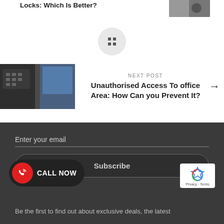Locks: Which Is Better?
[Figure (photo): Thumbnail image of locks]
[Figure (other): Grid dots navigation icon in a circle]
[Figure (photo): Image of a keypad/access control device and office area]
NEXT POST
Unauthorised Access To office Area: How Can you Prevent It?
Enter your email
Subscribe
CALL NOW
Be the first to find out about exclusive deals, the latest